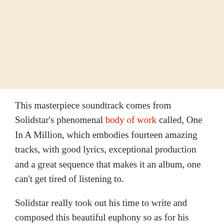[Figure (photo): Blank/placeholder cream-colored image area at top of page]
This masterpiece soundtrack comes from Solidstar's phenomenal body of work called, One In A Million, which embodies fourteen amazing tracks, with good lyrics, exceptional production and a great sequence that makes it an album, one can't get tired of listening to.
Solidstar really took out his time to write and composed this beautiful euphony so as for his